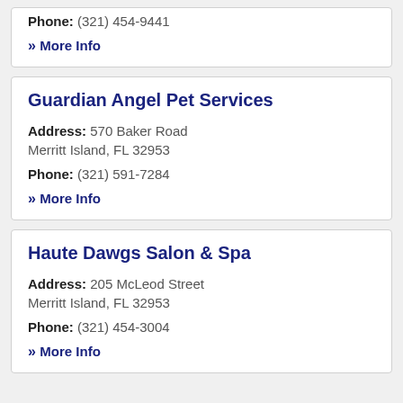Phone: (321) 454-9441
» More Info
Guardian Angel Pet Services
Address: 570 Baker Road Merritt Island, FL 32953
Phone: (321) 591-7284
» More Info
Haute Dawgs Salon & Spa
Address: 205 McLeod Street Merritt Island, FL 32953
Phone: (321) 454-3004
» More Info